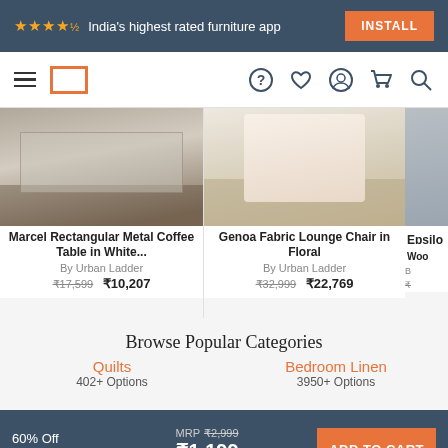★★★★½ India's highest rated furniture app — INSTALL
[Figure (screenshot): Navigation bar with hamburger menu, Urban Ladder logo (orange square outline), and icons for help, wishlist, account, cart, and search]
[Figure (photo): Marcel Rectangular Metal Coffee Table in White on a rug]
Marcel Rectangular Metal Coffee Table in White...
By Urban Ladder
₹17,599  ₹10,207
[Figure (photo): Genoa Fabric Lounge Chair in Floral]
Genoa Fabric Lounge Chair in Floral
By Urban Ladder
₹32,999  ₹22,769
[Figure (photo): Epsilon Wood furniture item (partially visible)]
Browse Popular Categories
Quilts
402+ Options
Bedroom Linen
3950+ Options
60% Off SALE  MRP ₹2,999  ₹1,199  (Inclusive of all taxes)  ADD TO CART